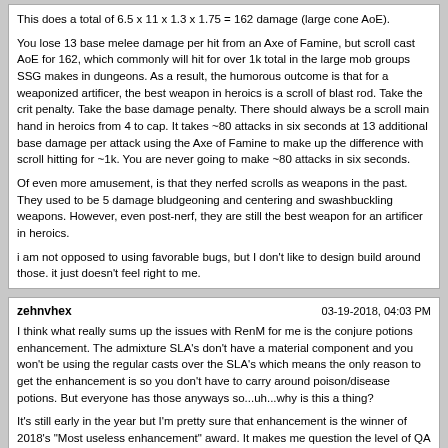This does a total of 6.5 x 11 x 1.3 x 1.75 = 162 damage (large cone AoE).

You lose 13 base melee damage per hit from an Axe of Famine, but scroll cast AoE for 162, which commonly will hit for over 1k total in the large mob groups SSG makes in dungeons. As a result, the humorous outcome is that for a weaponized artificer, the best weapon in heroics is a scroll of blast rod. Take the crit penalty. Take the base damage penalty. There should always be a scroll main hand in heroics from 4 to cap. It takes ~80 attacks in six seconds at 13 additional base damage per attack using the Axe of Famine to make up the difference with scroll hitting for ~1k. You are never going to make ~80 attacks in six seconds.

Of even more amusement, is that they nerfed scrolls as weapons in the past. They used to be 5 damage bludgeoning and centering and swashbuckling weapons. However, even post-nerf, they are still the best weapon for an artificer in heroics.

i am not opposed to using favorable bugs, but I don't like to design build around those. it just doesn't feel right to me.
zehnvhex | 03-19-2018, 04:03 PM

I think what really sums up the issues with RenM for me is the conjure potions enhancement. The admixture SLA's don't have a material component and you won't be using the regular casts over the SLA's which means the only reason to get the enhancement is so you don't have to carry around poison/disease potions. But everyone has those anyways so...uh...why is this a thing?

It's still early in the year but I'm pretty sure that enhancement is the winner of 2018's "Most useless enhancement" award. It makes me question the level of QA Steelstar did when that enhancement got on the tree.


Numbers are a bit high in places, but the theme is nice.

Yeah, numbers can always be adjusted. Mostly I just wanted to hammer home